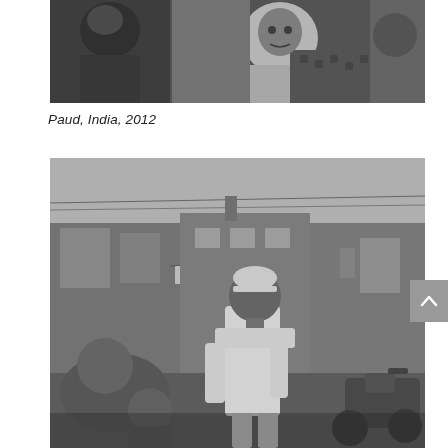[Figure (photo): Black and white photograph of an Indian woman in a sari holding a baby, sitting indoors. Another figure visible on the left.]
Paud, India, 2012
[Figure (photo): Black and white street photograph of a man wearing a white cap and white kurta walking in an urban area in India, with buildings and a scooter in the background.]